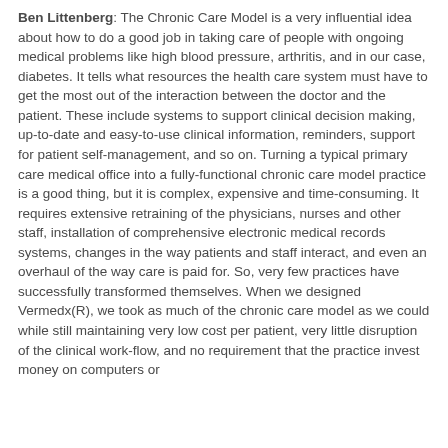Ben Littenberg: The Chronic Care Model is a very influential idea about how to do a good job in taking care of people with ongoing medical problems like high blood pressure, arthritis, and in our case, diabetes. It tells what resources the health care system must have to get the most out of the interaction between the doctor and the patient. These include systems to support clinical decision making, up-to-date and easy-to-use clinical information, reminders, support for patient self-management, and so on. Turning a typical primary care medical office into a fully-functional chronic care model practice is a good thing, but it is complex, expensive and time-consuming. It requires extensive retraining of the physicians, nurses and other staff, installation of comprehensive electronic medical records systems, changes in the way patients and staff interact, and even an overhaul of the way care is paid for. So, very few practices have successfully transformed themselves. When we designed Vermedx(R), we took as much of the chronic care model as we could while still maintaining very low cost per patient, very little disruption of the clinical work-flow, and no requirement that the practice invest money on computers or